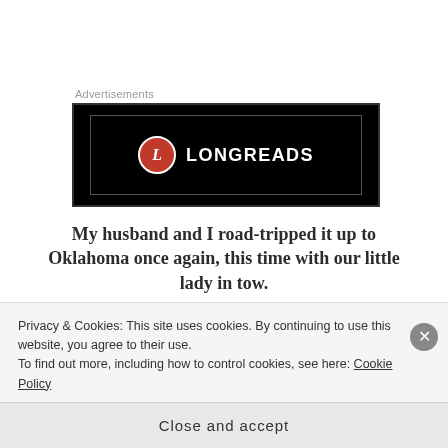Advertisements
[Figure (logo): Longreads advertisement banner: black background with red circle L logo and white text LONGREADS]
My husband and I road-tripped it up to Oklahoma once again, this time with our little lady in tow.
And just like that, I simply don't have a least
Privacy & Cookies: This site uses cookies. By continuing to use this website, you agree to their use.
To find out more, including how to control cookies, see here: Cookie Policy
Close and accept